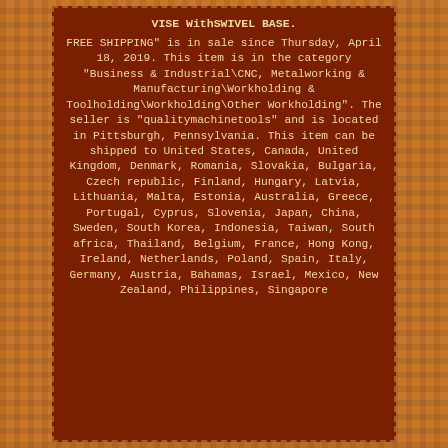VISE WithSWIVEL BASE.
FREE SHIPPING" is in sale since Thursday, April 18, 2019. This item is in the category "Business & Industrial\CNC, Metalworking & Manufacturing\Workholding & Toolholding\Workholding\Other Workholding". The seller is "qualitymachinetools" and is located in Pittsburgh, Pennsylvania. This item can be shipped to United States, Canada, United Kingdom, Denmark, Romania, Slovakia, Bulgaria, Czech republic, Finland, Hungary, Latvia, Lithuania, Malta, Estonia, Australia, Greece, Portugal, Cyprus, Slovenia, Japan, China, Sweden, South Korea, Indonesia, Taiwan, South africa, Thailand, Belgium, France, Hong Kong, Ireland, Netherlands, Poland, Spain, Italy, Germany, Austria, Bahamas, Israel, Mexico, New Zealand, Philippines, Singapore